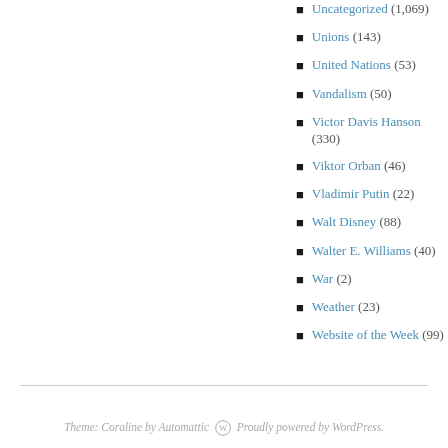Uncategorized (1,069)
Unions (143)
United Nations (53)
Vandalism (50)
Victor Davis Hanson (330)
Viktor Orban (46)
Vladimir Putin (22)
Walt Disney (88)
Walter E. Williams (40)
War (2)
Weather (23)
Website of the Week (99)
Theme: Coraline by Automattic  Proudly powered by WordPress.